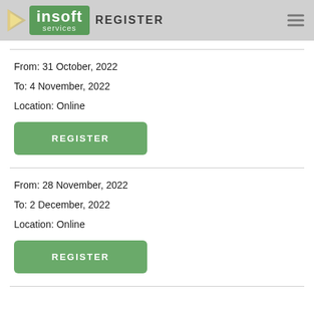insoft services — REGISTER
From: 31 October, 2022
To: 4 November, 2022
Location: Online
REGISTER
From: 28 November, 2022
To: 2 December, 2022
Location: Online
REGISTER